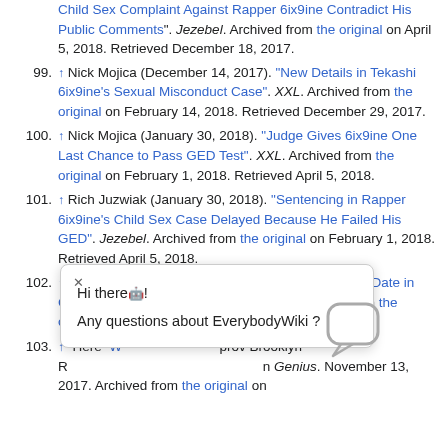Child Sex Complaint Against Rapper 6ix9ine Contradict His Public Comments". Jezebel. Archived from the original on April 5, 2018. Retrieved December 18, 2017.
99. ↑ Nick Mojica (December 14, 2017). "New Details in Tekashi 6ix9ine's Sexual Misconduct Case". XXL. Archived from the original on February 14, 2018. Retrieved December 29, 2017.
100. ↑ Nick Mojica (January 30, 2018). "Judge Gives 6ix9ine One Last Chance to Pass GED Test". XXL. Archived from the original on February 1, 2018. Retrieved April 5, 2018.
101. ↑ Rich Juzwiak (January 30, 2018). "Sentencing in Rapper 6ix9ine's Child Sex Case Delayed Because He Failed His GED". Jezebel. Archived from the original on February 1, 2018. Retrieved April 5, 2018.
102. ↑ Joshua Espinoza (April 10, 2018). "6ix9ine's Court Date in Child Sex Case Postponed". Complex. Archived from the original on [date], 2018.
103. ↑ "Here's Why... prov Brooklyn R... n Genius. November 13, 2017. Archived from the original on December 29, 2017. Retrieved December 8, 2017.